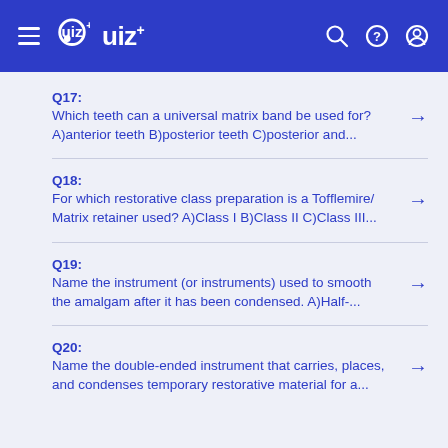Quiz+
Q17: Which teeth can a universal matrix band be used for? A)anterior teeth B)posterior teeth C)posterior and...
Q18: For which restorative class preparation is a Tofflemire/Matrix retainer used? A)Class I B)Class II C)Class III...
Q19: Name the instrument (or instruments) used to smooth the amalgam after it has been condensed. A)Half-...
Q20: Name the double-ended instrument that carries, places, and condenses temporary restorative material for a...